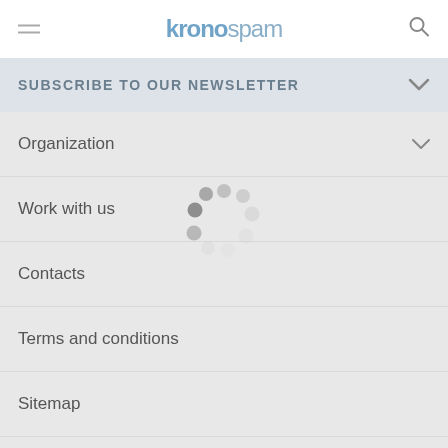kronospan
SUBSCRIBE TO OUR NEWSLETTER
Organization
Work with us
Contacts
Terms and conditions
Sitemap
F.A.Q.
Cookies Settings
[Figure (other): Circular loading spinner animation with dots arranged in a circle, showing a loading state]